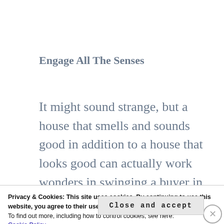Engage All The Senses
It might sound strange, but a house that smells and sounds good in addition to a house that looks good can actually work wonders in swinging a buyer in the direction of your home. While having a
Privacy & Cookies: This site uses cookies. By continuing to use this website, you agree to their use.
To find out more, including how to control cookies, see here:
Cookie Policy
Close and accept